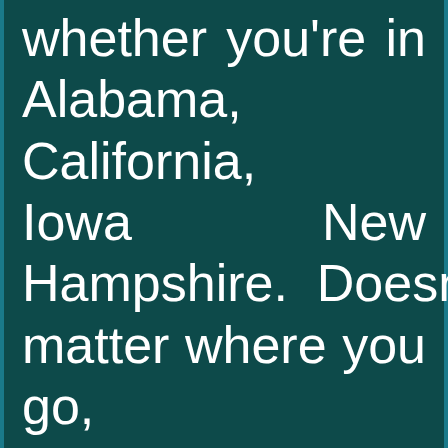whether you're in Alabama, California, Iowa New Hampshire. Doesn't matter where you go, you're honest, you are fearless as you were when you were mayor of Cleveland. As you have been for twelve years, as